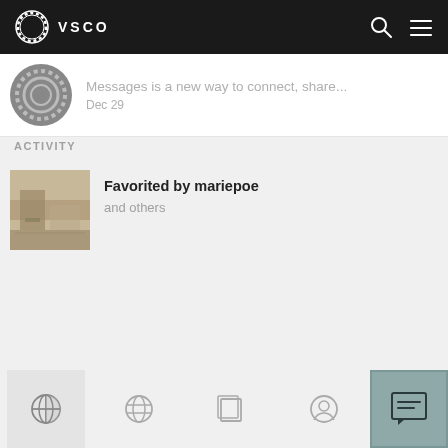VSCO
Messages is a new way to connect, share... Dec 29
ACTIVITY
Favorited by mariepoe and others
[Figure (screenshot): VSCO app screenshot showing activity feed with a favorited photo notification]
Bottom navigation bar with studio, discover, collection, and profile icons, plus messages button